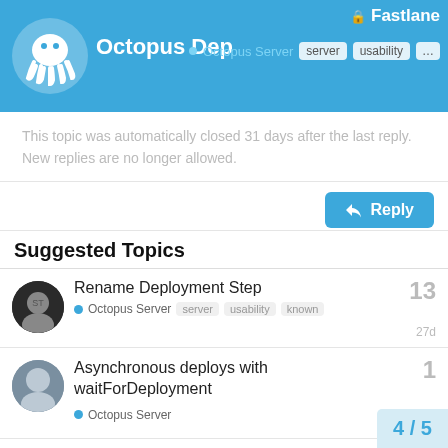Octopus Dep | Fastlane | Octopus Server | server | usability | ...
This topic was automatically closed 31 days after the last reply. New replies are no longer allowed.
Suggested Topics
Rename Deployment Step — Octopus Server | server | usability | known — 13 replies — 27d
Asynchronous deploys with waitForDeployment — Octopus Server — 1 reply — 25d
Octopus admin user has no permissions after DB restore — Octopus Server | server | reliability | support — 21 replies — 21d
Add Kubernetes support for s…
4 / 5